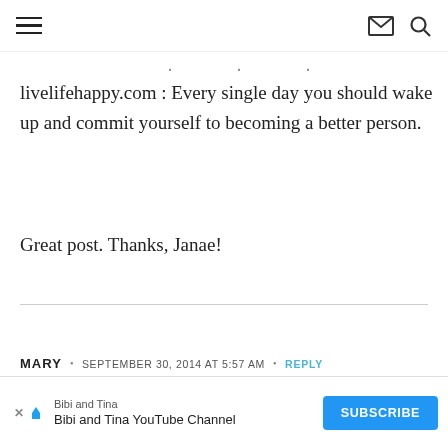Navigation header with hamburger menu, mail icon, and search icon
livelifehappy.com : Every single day you should wake up and commit yourself to becoming a better person.
Great post. Thanks, Janae!
MARY · SEPTEMBER 30, 2014 AT 5:57 AM · REPLY
I have a quote in my kitchen that says “Never get so busy making a living that you forget to make a life”. I